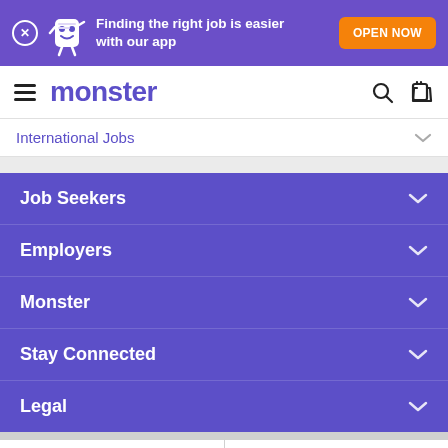[Figure (screenshot): Purple app download banner with Monster mascot, X close button, text 'Finding the right job is easier with our app', and orange 'OPEN NOW' button]
monster
International Jobs
Job Seekers
Employers
Monster
Stay Connected
Legal
Sort Relevance
Filter 33 Jobs